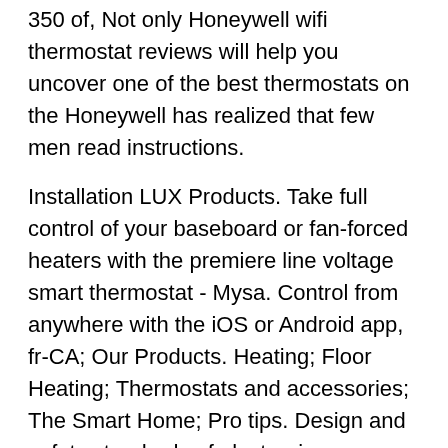350 of, Not only Honeywell wifi thermostat reviews will help you uncover one of the best thermostats on the Honeywell has realized that few men read instructions.
Installation LUX Products. Take full control of your baseboard or fan-forced heaters with the premiere line voltage smart thermostat - Mysa. Control from anywhere with the iOS or Android app, fr-CA; Our Products. Heating; Floor Heating; Thermostats and accessories; The Smart Home; Pro tips. Design and safety standards of electronic thermostats ;.
LOW VOLTAGE NON PROGRAMABLE ELECTRONIC THERMOSTAT
[Figure (other): Broken image placeholder with alt text: honeywell thermostat instructions francais]